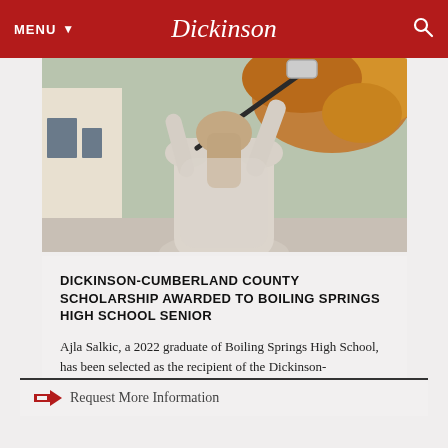MENU  Dickinson
[Figure (photo): Person from behind holding a lacrosse stick over their shoulder, wearing a light grey waffle-knit sweater, with autumn foliage in background]
DICKINSON-CUMBERLAND COUNTY SCHOLARSHIP AWARDED TO BOILING SPRINGS HIGH SCHOOL SENIOR
Ajla Salkic, a 2022 graduate of Boiling Springs High School, has been selected as the recipient of the Dickinson-Cumberland County Scholarship.
Request More Information